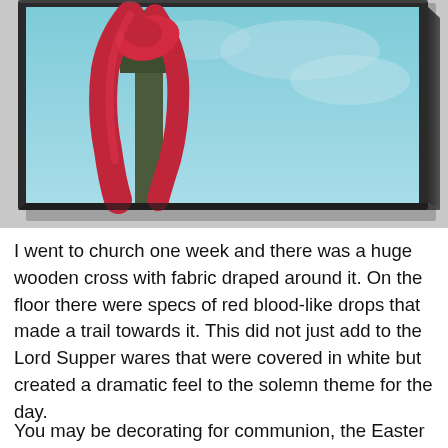[Figure (photo): A framed painting or photo mounted on a concrete/stone wall, showing a wooden cross with red fabric draped around it against a blue sky background. The frame is dark/black and the image is viewed at a slight angle.]
I went to church one week and there was a huge wooden cross with fabric draped around it. On the floor there were specs of red blood-like drops that made a trail towards it. This did not just add to the Lord Supper wares that were covered in white but created a dramatic feel to the solemn theme for the day.
You may be decorating for communion, the Easter